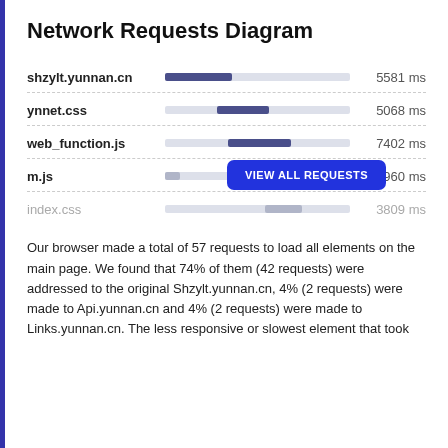Network Requests Diagram
[Figure (bar-chart): Network Requests Diagram]
Our browser made a total of 57 requests to load all elements on the main page. We found that 74% of them (42 requests) were addressed to the original Shzylt.yunnan.cn, 4% (2 requests) were made to Api.yunnan.cn and 4% (2 requests) were made to Links.yunnan.cn. The less responsive or slowest element that took